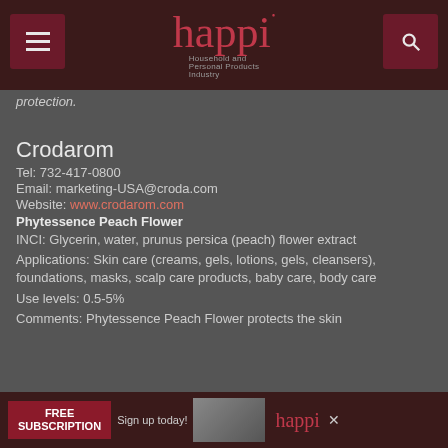happi
protection.
Crodarom
Tel: 732-417-0800
Email: marketing-USA@croda.com
Website: www.crodarom.com
Phytessence Peach Flower
INCI: Glycerin, water, prunus persica (peach) flower extract
Applications: Skin care (creams, gels, lotions, gels, cleansers), foundations, masks, scalp care products, baby care, body care
Use levels: 0.5-5%
Comments: Phytessence Peach Flower protects the skin